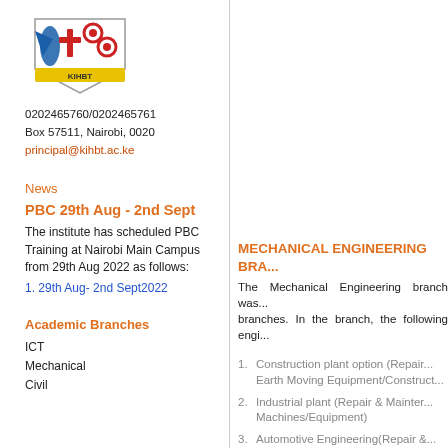[Figure (logo): KIHBT institution logo/crest with blue and red design on yellow ribbon]
0202465760/0202465761
Box 57511, Nairobi, 0020
principal@kihbt.ac.ke
News
PBC 29th Aug - 2nd Sept
The institute has scheduled PBC Training at Nairobi Main Campus from 29th Aug 2022 as follows:
1. 29th Aug- 2nd Sept2022
Academic Branches
ICT
Mechanical
Civil
MECHANICAL ENGINEERING BRA...
The Mechanical Engineering branch was... branches. In the branch, the following engi...
1. Construction plant option (Repair... Earth Moving Equipment/Construct...
2. Industrial plant (Repair & Mainter... Machines/Equipment)
3. Automotive Engineering(Repair &... Motor Vehicles)